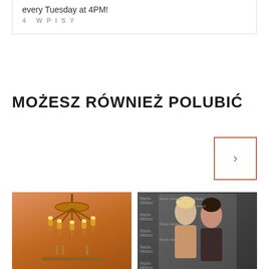every Tuesday at 4PM!
4 WPISY
MOŻESZ RÓWNIEŻ POLUBIĆ
[Figure (photo): Navigation arrow button pointing right, with orange/brown border]
[Figure (photo): Photo of a golden chandelier hanging from ceiling in warm orange-toned room]
[Figure (photo): Photo of two people (young man and woman) standing in front of a Radio Meteor backdrop]